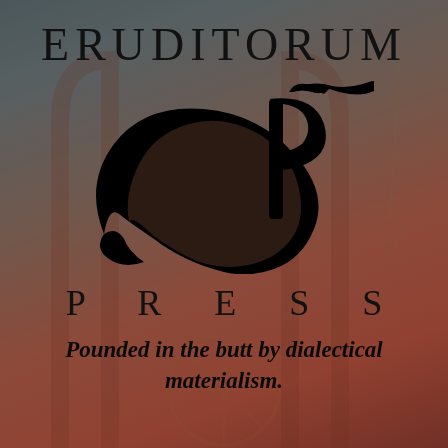[Figure (logo): Eruditorum Press logo: the text ERUDITORUM above a stylized EP monogram with an italic quill/feather design, and PRESS spelled out with wide letter-spacing below, all in black on a muted dark teal-to-warm-red background with a faint decorative painting visible behind.]
Pounded in the butt by dialectical materialism.